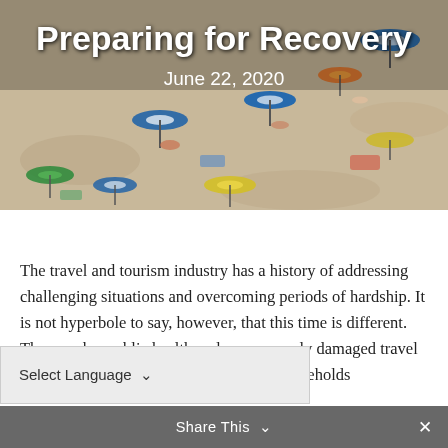[Figure (photo): Aerial view of a crowded beach with colorful umbrellas, sunbathers on sand]
Preparing for Recovery
June 22, 2020
The travel and tourism industry has a history of addressing challenging situations and overcoming periods of hardship. It is not hyperbole to say, however, that this time is different. The [pandemic has created] a public health and [economic crisis] severely damaged travel and tourism activities, businesses, and households